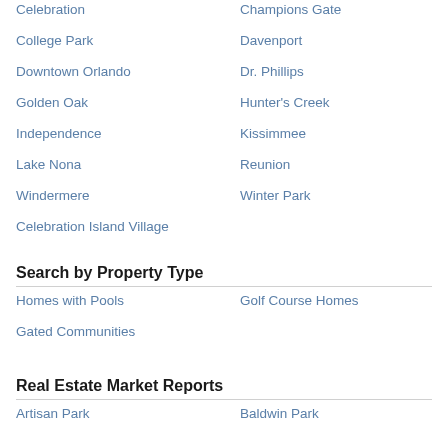Celebration
Champions Gate
College Park
Davenport
Downtown Orlando
Dr. Phillips
Golden Oak
Hunter's Creek
Independence
Kissimmee
Lake Nona
Reunion
Windermere
Winter Park
Celebration Island Village
Search by Property Type
Homes with Pools
Golf Course Homes
Gated Communities
Real Estate Market Reports
Artisan Park
Baldwin Park